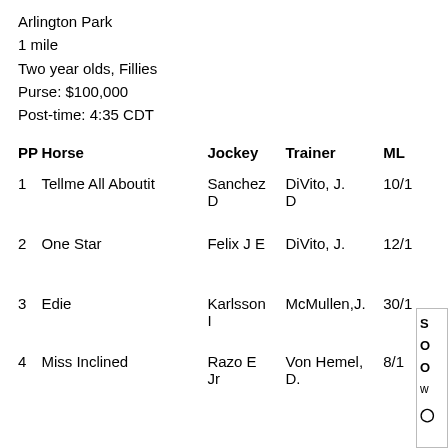Arlington Park
1 mile
Two year olds, Fillies
Purse: $100,000
Post-time: 4:35 CDT
| PP | Horse | Jockey | Trainer | ML |
| --- | --- | --- | --- | --- |
| 1 | Tellme All Aboutit | Sanchez D | DiVito, J. D | 10/1 |
| 2 | One Star | Felix J E | DiVito, J. | 12/1 |
| 3 | Edie | Karlsson I | McMullen,J. | 30/1 |
| 4 | Miss Inclined | Razo E Jr | Von Hemel, D. | 8/1 |